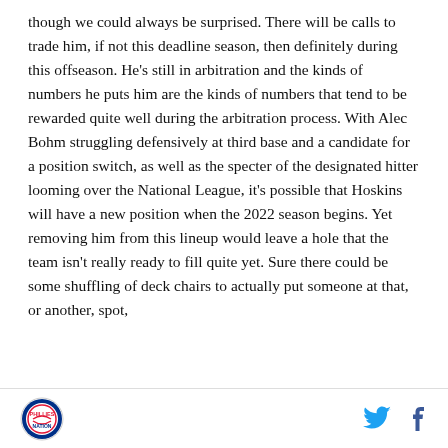though we could always be surprised. There will be calls to trade him, if not this deadline season, then definitely during this offseason. He's still in arbitration and the kinds of numbers he puts him are the kinds of numbers that tend to be rewarded quite well during the arbitration process. With Alec Bohm struggling defensively at third base and a candidate for a position switch, as well as the specter of the designated hitter looming over the National League, it's possible that Hoskins will have a new position when the 2022 season begins. Yet removing him from this lineup would leave a hole that the team isn't really ready to fill quite yet. Sure there could be some shuffling of deck chairs to actually put someone at that, or another, spot,
[Phillies logo] [Twitter icon] [Facebook icon]